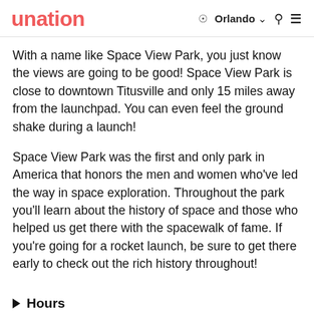unation  Orlando  Search  Menu
With a name like Space View Park, you just know the views are going to be good! Space View Park is close to downtown Titusville and only 15 miles away from the launchpad. You can even feel the ground shake during a launch!
Space View Park was the first and only park in America that honors the men and women who've led the way in space exploration. Throughout the park you'll learn about the history of space and those who helped us get there with the spacewalk of fame. If you're going for a rocket launch, be sure to get there early to check out the rich history throughout!
Hours